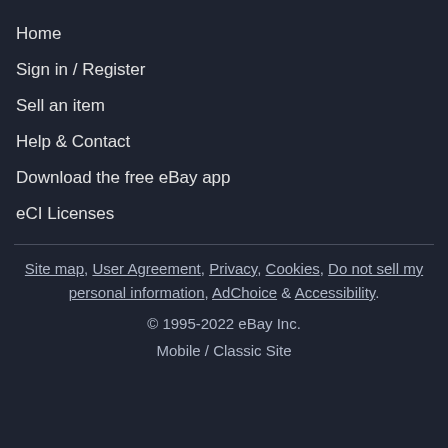Home
Sign in / Register
Sell an item
Help & Contact
Download the free eBay app
eCI Licenses
Site map, User Agreement, Privacy, Cookies, Do not sell my personal information, AdChoice & Accessibility. © 1995-2022 eBay Inc. Mobile / Classic Site